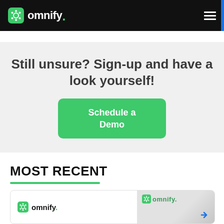omnify. [logo] [hamburger menu]
Still unsure? Sign-up and have a look yourself!
Schedule a Demo
MOST RECENT
[Figure (logo): Omnify logo card preview at the bottom of the page]